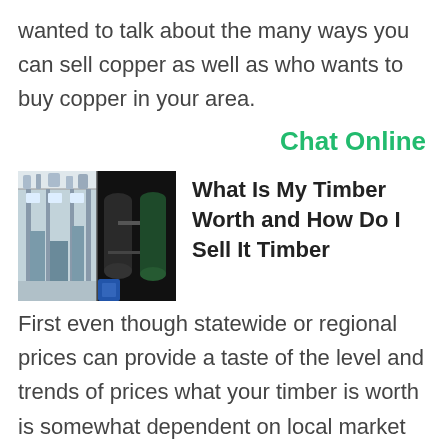wanted to talk about the many ways you can sell copper as well as who wants to buy copper in your area.
Chat Online
[Figure (photo): Industrial facility or processing plant images, two panels side by side]
What Is My Timber Worth and How Do I Sell It Timber
First even though statewide or regional prices can provide a taste of the level and trends of prices what your timber is worth is somewhat dependent on local market conditions If your timber grows near a lot of mills your timber might command a higher price than if the timber were far from mills or close to only